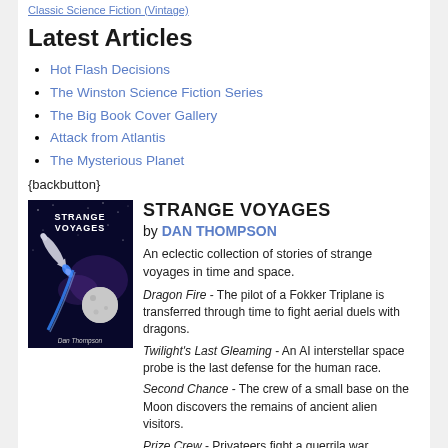Classic Science Fiction (Vintage)
Latest Articles
Hot Flash Decisions
The Winston Science Fiction Series
The Big Book Cover Gallery
Attack from Atlantis
The Mysterious Planet
{backbutton}
[Figure (illustration): Book cover of Strange Voyages showing a spaceship and moon against a dark starry sky, with text 'STRANGE VOYAGES' and 'Dan Thompson']
STRANGE VOYAGES
by DAN THOMPSON
An eclectic collection of stories of strange voyages in time and space.
Dragon Fire - The pilot of a Fokker Triplane is transferred through time to fight aerial duels with dragons.
Twilight's Last Gleaming - An AI interstellar space probe is the last defense for the human race.
Second Chance - The crew of a small base on the Moon discovers the remains of ancient alien visitors.
Prize Crew - Privateers fight a guerrila war...